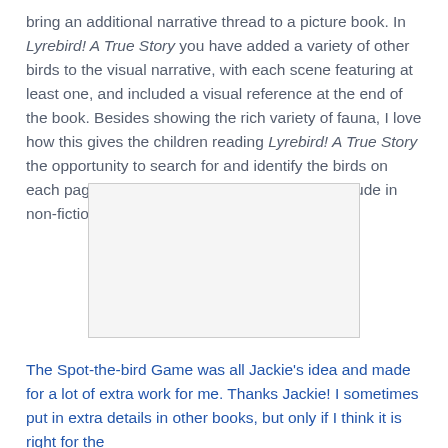bring an additional narrative thread to a picture book. In Lyrebird! A True Story you have added a variety of other birds to the visual narrative, with each scene featuring at least one, and included a visual reference at the end of the book. Besides showing the rich variety of fauna, I love how this gives the children reading Lyrebird! A True Story the opportunity to search for and identify the birds on each page. Is this something you commonly include in non-fiction picture books?
[Figure (photo): A blank/white rectangular image placeholder]
The Spot-the-bird Game was all Jackie's idea and made for a lot of extra work for me. Thanks Jackie! I sometimes put in extra details in other books, but only if I think it is right for the